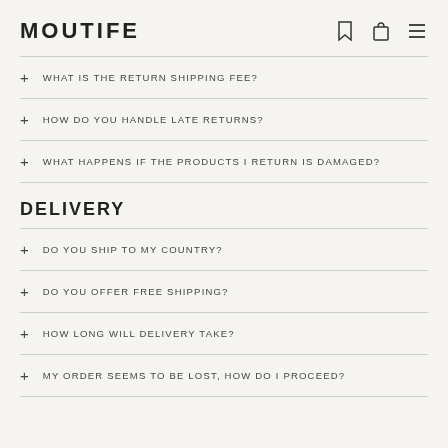MOUTIFE
+ WHAT IS THE RETURN SHIPPING FEE?
+ HOW DO YOU HANDLE LATE RETURNS?
+ WHAT HAPPENS IF THE PRODUCTS I RETURN IS DAMAGED?
DELIVERY
+ DO YOU SHIP TO MY COUNTRY?
+ DO YOU OFFER FREE SHIPPING?
+ HOW LONG WILL DELIVERY TAKE?
+ MY ORDER SEEMS TO BE LOST, HOW DO I PROCEED?